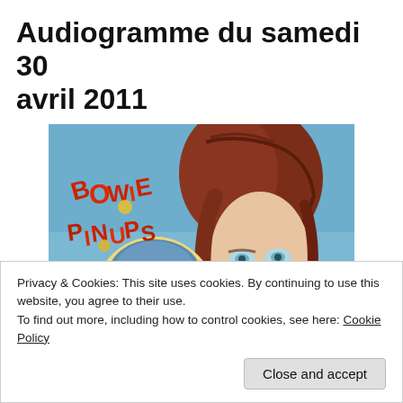Audiogramme du samedi 30 avril 2011
[Figure (photo): Album cover of David Bowie 'Pin Ups' showing Bowie with reddish hair and heavy makeup alongside a blonde figure, with 'Bowie Pin Ups' text in red letters on a blue background]
Privacy & Cookies: This site uses cookies. By continuing to use this website, you agree to their use.
To find out more, including how to control cookies, see here: Cookie Policy
Close and accept